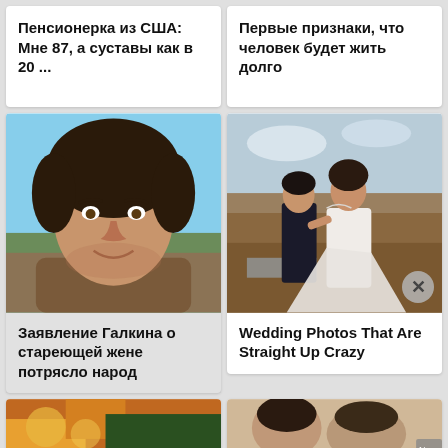[Figure (photo): News card with no image - Russian text headline about American pensioner and joints]
Пенсионерка из США: Мне 87, а суставы как в 20 ...
[Figure (photo): News card with no image - Russian text headline about signs that a person will live long]
Первые признаки, что человек будет жить долго
[Figure (photo): Photo of a man with curly dark hair, smiling, outdoor background with blue sky]
Заявление Галкина о стареющей жене потрясло народ
[Figure (photo): Wedding photo of a couple outdoors, bride in white dress with long train, groom in dark suit, muddy/sandy terrain]
Wedding Photos That Are Straight Up Crazy
[Figure (photo): Bottom left thumbnail - colorful image]
[Figure (photo): Bottom right thumbnail - people image]